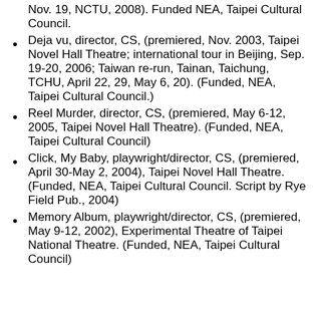Nov. 19, NCTU, 2008). Funded NEA, Taipei Cultural Council.
Deja vu, director, CS, (premiered, Nov. 2003, Taipei Novel Hall Theatre; international tour in Beijing, Sep. 19-20, 2006; Taiwan re-run, Tainan, Taichung, TCHU, April 22, 29, May 6, 20). (Funded, NEA, Taipei Cultural Council.)
Reel Murder, director, CS, (premiered, May 6-12, 2005, Taipei Novel Hall Theatre). (Funded, NEA, Taipei Cultural Council)
Click, My Baby, playwright/director, CS, (premiered, April 30-May 2, 2004), Taipei Novel Hall Theatre. (Funded, NEA, Taipei Cultural Council. Script by Rye Field Pub., 2004)
Memory Album, playwright/director, CS, (premiered, May 9-12, 2002), Experimental Theatre of Taipei National Theatre. (Funded, NEA, Taipei Cultural Council)